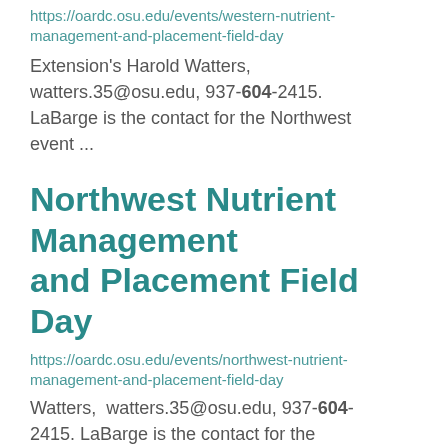https://oardc.osu.edu/events/western-nutrient-management-and-placement-field-day
Extension's Harold Watters, watters.35@osu.edu, 937-604-2415. LaBarge is the contact for the Northwest event ...
Northwest Nutrient Management and Placement Field Day
https://oardc.osu.edu/events/northwest-nutrient-management-and-placement-field-day
Watters, watters.35@osu.edu, 937-604-2415. LaBarge is the contact for the Northwest event at ...
Horse Manure Management